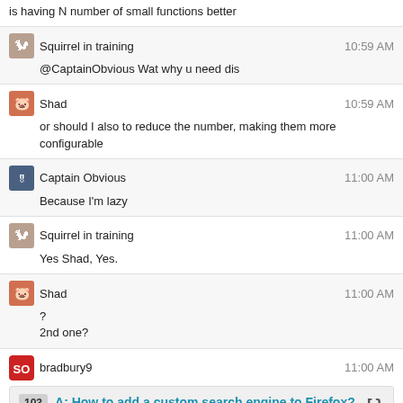is having N number of small functions better
Squirrel in training  10:59 AM
@CaptainObvious Wat why u need dis
Shad  10:59 AM
or should I also to reduce the number, making them more configurable
Captain Obvious  11:00 AM
Because I'm lazy
Squirrel in training  11:00 AM
Yes Shad, Yes.
Shad  11:00 AM
?
2nd one?
bradbury9  11:00 AM
[Figure (screenshot): Stack Overflow answer card: '103 A: How to add a custom search engine to Firefox?' with partial answer text about providing a URL with %s placeholder for search content.]